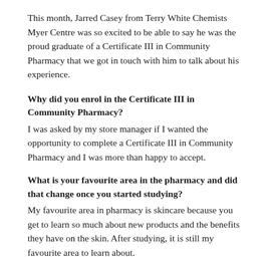This month, Jarred Casey from Terry White Chemists Myer Centre was so excited to be able to say he was the proud graduate of a Certificate III in Community Pharmacy that we got in touch with him to talk about his experience.
Why did you enrol in the Certificate III in Community Pharmacy?
I was asked by my store manager if I wanted the opportunity to complete a Certificate III in Community Pharmacy and I was more than happy to accept.
What is your favourite area in the pharmacy and did that change once you started studying?
My favourite area in pharmacy is skincare because you get to learn so much about new products and the benefits they have on the skin. After studying, it is still my favourite area to learn about.
How important is training to you?